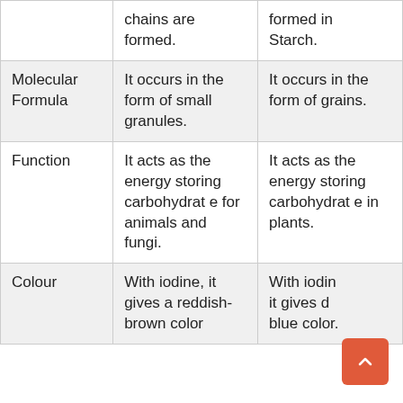|  | Glycogen | Starch |
| --- | --- | --- |
|  | chains are formed. | formed in Starch. |
| Molecular Formula | It occurs in the form of small granules. | It occurs in the form of grains. |
| Function | It acts as the energy storing carbohydrate for animals and fungi. | It acts as the energy storing carbohydrate in plants. |
| Colour | With iodine, it gives a reddish-brown color | With iodine, it gives deep blue color. |